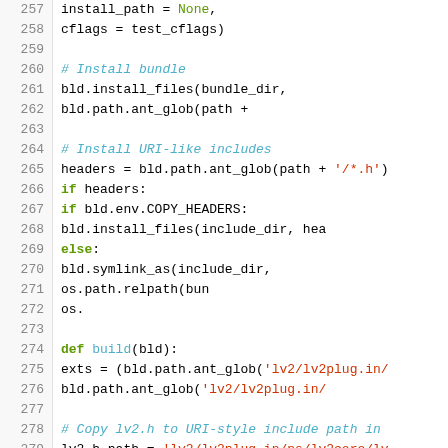[Figure (screenshot): Python source code snippet showing lines 257-286 of a build script with syntax highlighting. Keywords are green/blue, strings are red/orange, comments are italic blue/teal, and function names are teal. Code includes install_files, ant_glob, symlink_as, a build() function definition, and pkgconfig file setup.]